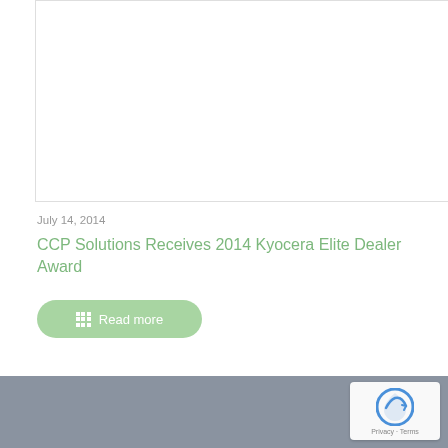[Figure (photo): White/blank image area with light border]
July 14, 2014
CCP Solutions Receives 2014 Kyocera Elite Dealer Award
Read more